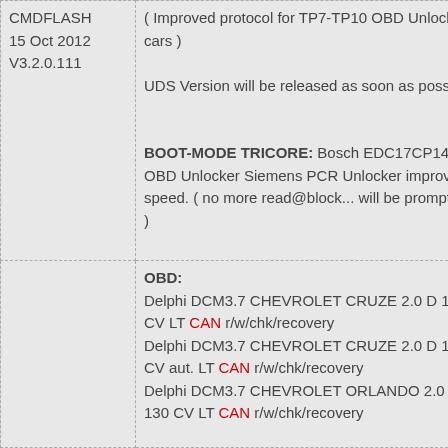CMDFLASH
15 Oct 2012
V3.2.0.111
( Improved protocol for TP7-TP10 OBD Unlocked cars )

UDS Version will be released as soon as possible

BOOT-MODE TRICORE: Bosch EDC17CP14 OBD Unlocker Siemens PCR Unlocker improved speed. ( no more read@block... will be prompted )
OBD:
Delphi DCM3.7 CHEVROLET CRUZE 2.0 D 163 CV LT CAN r/w/chk/recovery
Delphi DCM3.7 CHEVROLET CRUZE 2.0 D 163 CV aut. LT CAN r/w/chk/recovery
Delphi DCM3.7 CHEVROLET ORLANDO 2.0 D 130 CV LT CAN r/w/chk/recovery